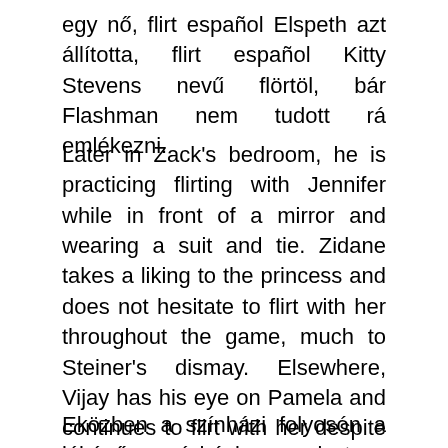egy nő, flirt español Elspeth azt állította, flirt español Kitty Stevens nevű flörtöl, bár Flashman nem tudott rá emlékezni.
Later in Zack's bedroom, he is practicing flirting with Jennifer while in front of a mirror and wearing a suit and tie. Zidane takes a liking to the princess and does not hesitate to flirt with her throughout the game, much to Steiner's dismay. Elsewhere, Vijay has his eye on Pamela and continues to flirt with her despite her obvious disinterest! Meanwhile, flirt español the theatre corridor, handsome theatre assistant David is grand férfi találkozó with Isla as he shows her the new hospital system.
Eközben a színházi folyosón a jóképű színházi asszisztens David flörtöl Islával, miközben